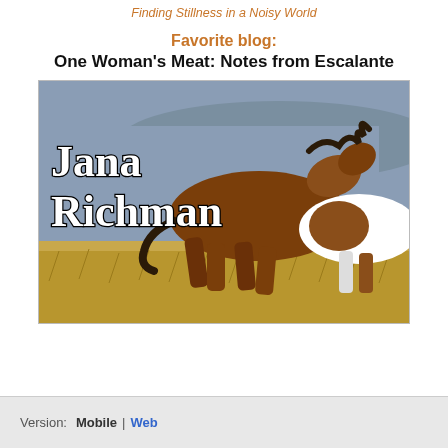Finding Stillness in a Noisy World
Favorite blog:
One Woman's Meat: Notes from Escalante
[Figure (photo): Blog header image showing running horses in a field with text 'Jana Richman' overlaid in white serif font]
Version: Mobile | Web